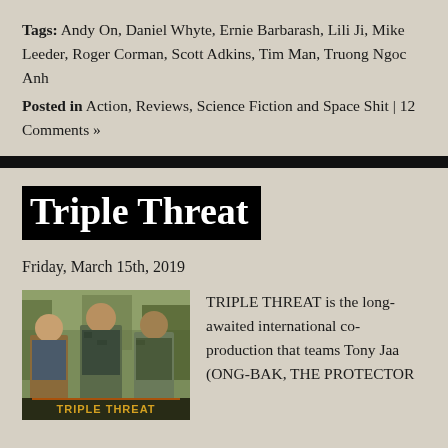Tags: Andy On, Daniel Whyte, Ernie Barbarash, Lili Ji, Mike Leeder, Roger Corman, Scott Adkins, Tim Man, Truong Ngoc Anh
Posted in Action, Reviews, Science Fiction and Space Shit | 12 Comments »
Triple Threat
Friday, March 15th, 2019
[Figure (photo): Movie poster or promotional image for Triple Threat showing three men in military/casual attire with the Triple Threat logo at the bottom]
TRIPLE THREAT is the long-awaited international co-production that teams Tony Jaa (ONG-BAK, THE PROTECTOR